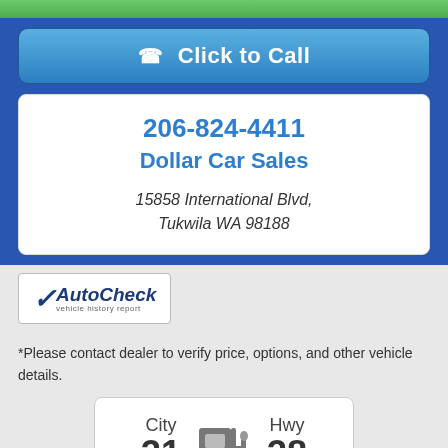[Figure (other): Green bar at top of page]
Click to Call
206-824-4411
Dollar Car Sales
15858 International Blvd,
Tukwila WA 98188
[Figure (logo): AutoCheck vehicle history report logo]
*Please contact dealer to verify price, options, and other vehicle details.
[Figure (infographic): MPG display showing City 31 and Hwy 38 with fuel pump icon]
MPG Disclaimer: *Based on 2020 EPA mileage and driving